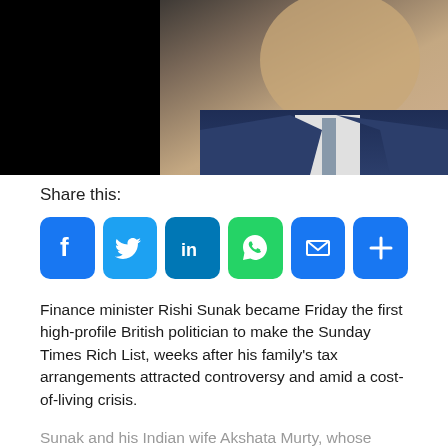[Figure (photo): Photo of Rishi Sunak in dark suit and tie against black background, cropped to show face and upper torso]
Share this:
[Figure (infographic): Social media share buttons: Facebook, Twitter, LinkedIn, WhatsApp, Email, More]
Finance minister Rishi Sunak became Friday the first high-profile British politician to make the Sunday Times Rich List, weeks after his family's tax arrangements attracted controversy and amid a cost-of-living crisis.
Sunak and his Indian wife Akshata Murty, whose father co-founded the IT behemoth Infosys, made the annual list for the first time with their joint £730 million ($911 million, 861 million euros) fortune.